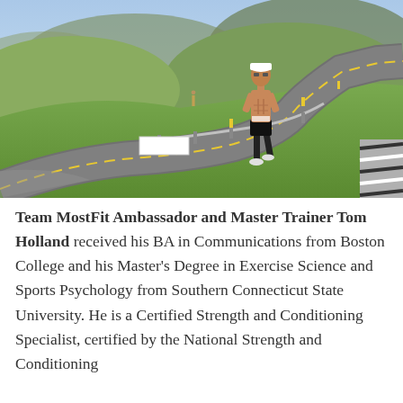[Figure (photo): An athletic male runner without a shirt, wearing black shorts, a white cap, and running shoes, running along a winding road with green hills and mountains in the background. Another runner is visible further back on the road.]
Team MostFit Ambassador and Master Trainer Tom Holland received his BA in Communications from Boston College and his Master's Degree in Exercise Science and Sports Psychology from Southern Connecticut State University. He is a Certified Strength and Conditioning Specialist, certified by the National Strength and Conditioning...